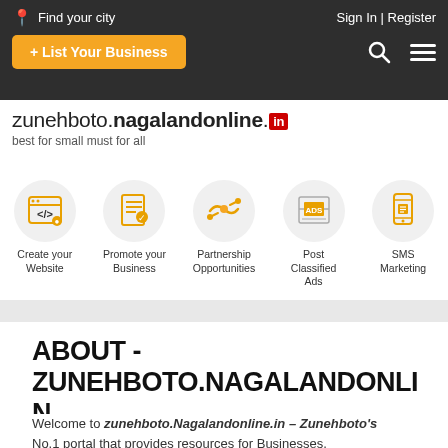Find your city | Sign In | Register | + List Your Business
zunehboto.nagalandonline.in — best for small must for all
[Figure (infographic): Five service icons: Create your Website, Promote your Business, Partnership Opportunities, Post Classified Ads, SMS Marketing]
ABOUT - ZUNEHBOTO.NAGALANDONLINE.IN
Welcome to zunehboto.Nagalandonline.in – Zunehboto's No.1 portal that provides resources for Businesses,